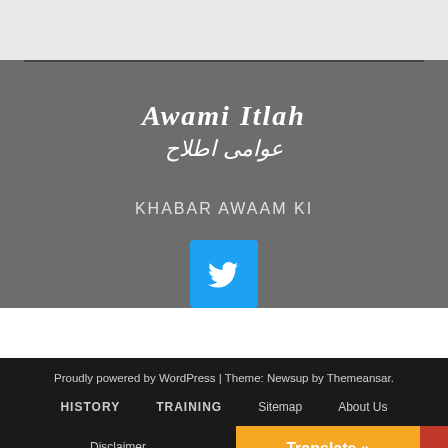[Figure (screenshot): Light grey top bar]
Awami Itlah عوامی اطلاح
KHABAR AWAAM KI
[Figure (logo): Twitter bird icon in a blue rounded square button]
Proudly powered by WordPress | Theme: Newsup by Themeansar.
HISTORY
TRAINING
Sitemap
About Us
Disclaimer
Translate »